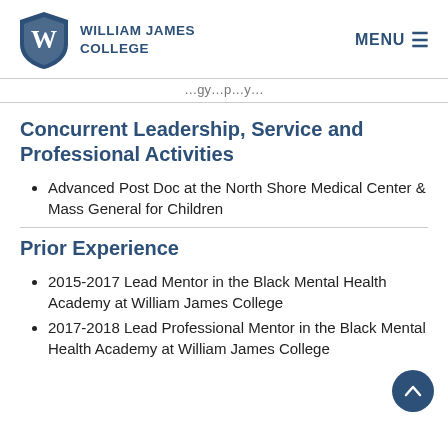William James College | MENU
…gy…p…y…
Concurrent Leadership, Service and Professional Activities
Advanced Post Doc at the North Shore Medical Center & Mass General for Children
Prior Experience
2015-2017 Lead Mentor in the Black Mental Health Academy at William James College
2017-2018 Lead Professional Mentor in the Black Mental Health Academy at William James College